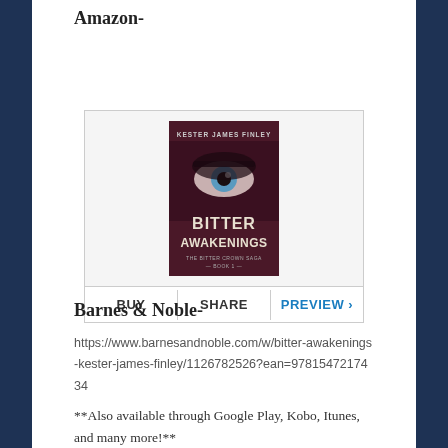Amazon-
[Figure (illustration): Book cover for 'Bitter Awakenings' by Kester James Finley, with BUY, SHARE, and PREVIEW buttons below]
Barnes & Noble-
https://www.barnesandnoble.com/w/bitter-awakenings-kester-james-finley/1126782526?ean=9781547217434
**Also available through Google Play, Kobo, Itunes, and many more!**